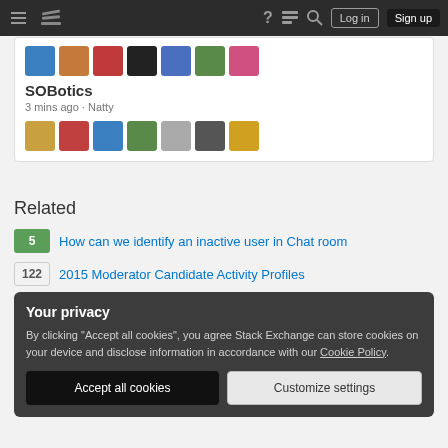Stack Overflow navigation bar with Log in and Sign up buttons
[Figure (screenshot): Row of user avatars in chat room]
SOBotics
3 mins ago · Natty
[Figure (screenshot): Second row of user avatars in SOBotics chat room]
Related
5  How can we identify an inactive user in Chat room
122  2015 Moderator Candidate Activity Profiles
Your privacy
By clicking "Accept all cookies", you agree Stack Exchange can store cookies on your device and disclose information in accordance with our Cookie Policy.
Accept all cookies  Customize settings